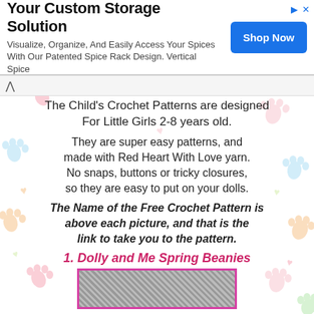[Figure (other): Advertisement banner: 'Your Custom Storage Solution - Visualize, Organize, And Easily Access Your Spices With Our Patented Spice Rack Design. Vertical Spice' with a blue 'Shop Now' button]
The Child's Crochet Patterns are designed For Little Girls 2-8 years old.
They are super easy patterns, and made with Red Heart With Love yarn. No snaps, buttons or tricky closures, so they are easy to put on your dolls.
The Name of the Free Crochet Pattern is above each picture, and that is the link to take you to the pattern.
1. Dolly and Me Spring Beanies
[Figure (photo): Photo of crochet beanies, partially visible at bottom of page]